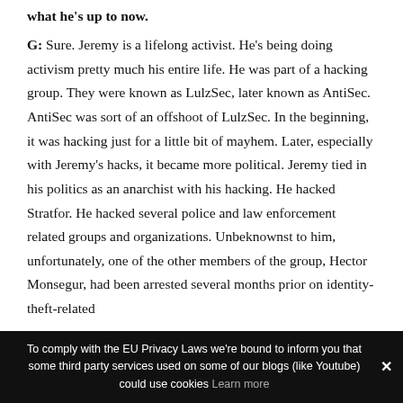what he's up to now.
G: Sure. Jeremy is a lifelong activist. He's being doing activism pretty much his entire life. He was part of a hacking group. They were known as LulzSec, later known as AntiSec. AntiSec was sort of an offshoot of LulzSec. In the beginning, it was hacking just for a little bit of mayhem. Later, especially with Jeremy's hacks, it became more political. Jeremy tied in his politics as an anarchist with his hacking. He hacked Stratfor. He hacked several police and law enforcement related groups and organizations. Unbeknownst to him, unfortunately, one of the other members of the group, Hector Monsegur, had been arrested several months prior on identity-theft-related
To comply with the EU Privacy Laws we're bound to inform you that some third party services used on some of our blogs (like Youtube) could use cookies Learn more